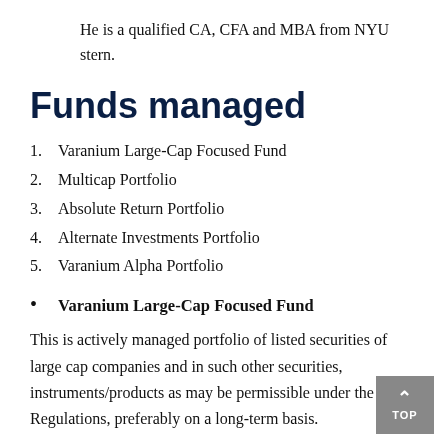He is a qualified CA, CFA and MBA from NYU stern.
Funds managed
1. Varanium Large-Cap Focused Fund
2. Multicap Portfolio
3. Absolute Return Portfolio
4. Alternate Investments Portfolio
5. Varanium Alpha Portfolio
• Varanium Large-Cap Focused Fund
This is actively managed portfolio of listed securities of large cap companies and in such other securities, instruments/products as may be permissible under the Regulations, preferably on a long-term basis.